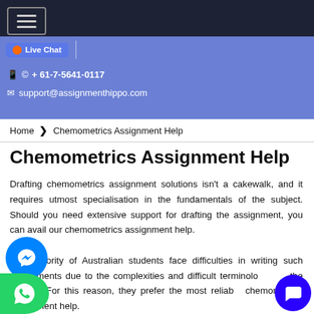≡
💬 Live chat
📱 © + 61-7-5641-0117
✉ support@assignmenthippo.com
Home › Chemometrics Assignment Help
Chemometrics Assignment Help
Drafting chemometrics assignment solutions isn't a cakewalk, and it requires utmost specialisation in the fundamentals of the subject. Should you need extensive support for drafting the assignment, you can avail our chemometrics assignment help.

The majority of Australian students face difficulties in writing such assignments due to the complexities and difficult terminologies in the subject. For this reason, they prefer the most reliable chemometrics assignment help.